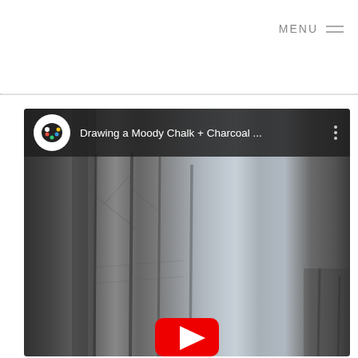MENU ≡
[Figure (screenshot): Screenshot of a YouTube video embed showing a charcoal drawing tutorial titled 'Drawing a Moody Chalk + Charcoal ...' with a channel icon (art palette bubble) and three-dot menu, overlaid on a charcoal drawing of moody trees. A YouTube play button is visible at the bottom center.]